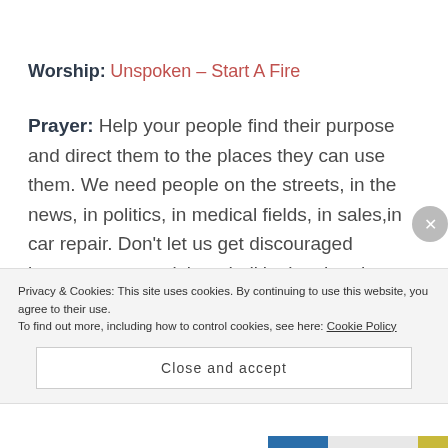Worship: Unspoken – Start A Fire
Prayer: Help your people find their purpose and direct them to the places they can use them. We need people on the streets, in the news, in politics, in medical fields, in sales,in car repair. Don't let us get discouraged because we aren't 'needed' in the church building. The church is not a building; it is the body of believers and I need those people
Privacy & Cookies: This site uses cookies. By continuing to use this website, you agree to their use. To find out more, including how to control cookies, see here: Cookie Policy
Close and accept